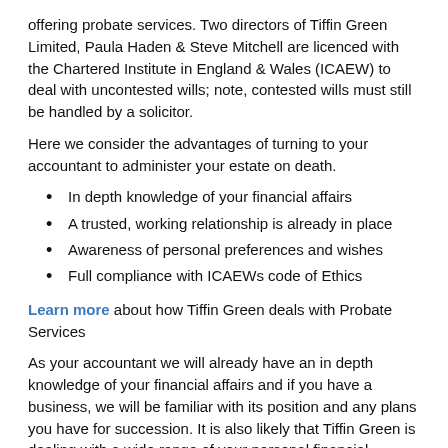offering probate services. Two directors of Tiffin Green Limited, Paula Haden & Steve Mitchell are licenced with the Chartered Institute in England & Wales (ICAEW) to deal with uncontested wills; note, contested wills must still be handled by a solicitor.
Here we consider the advantages of turning to your accountant to administer your estate on death.
In depth knowledge of your financial affairs
A trusted, working relationship is already in place
Awareness of personal preferences and wishes
Full compliance with ICAEWs code of Ethics
Learn more about how Tiffin Green deals with Probate Services
As your accountant we will already have an in depth knowledge of your financial affairs and if you have a business, we will be familiar with its position and any plans you have for succession. It is also likely that Tiffin Green is dealing with a wide range of your personal financial matters, which may include estate and tax planning as well as trust management.